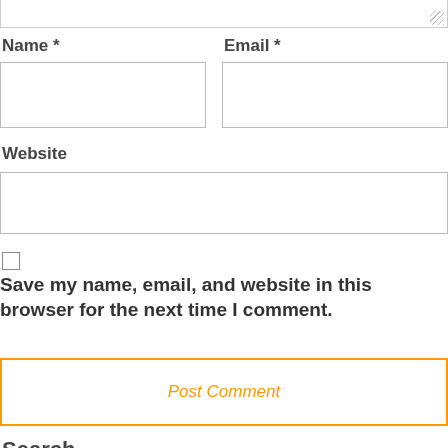[Figure (screenshot): Top portion of a textarea input field (cropped at top), with a resize handle at lower right]
Name *
Email *
[Figure (screenshot): Empty text input box for Name field]
[Figure (screenshot): Empty text input box for Email field]
Website
[Figure (screenshot): Empty text input box for Website field]
[Figure (screenshot): Unchecked checkbox]
Save my name, email, and website in this browser for the next time I comment.
[Figure (screenshot): Post Comment button with orange border and orange italic text]
Search
[Figure (screenshot): Search input box (partially visible at bottom) with a Search button]